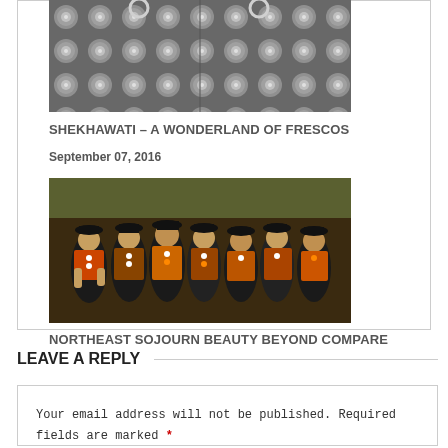[Figure (photo): Partially visible photo of a decorative metallic/studded surface or door, cropped at top]
SHEKHAWATI – A WONDERLAND OF FRESCOS
September 07, 2016
[Figure (photo): Group photo of people in traditional Northeast Indian tribal costumes with colorful attire and headdresses]
NORTHEAST SOJOURN BEAUTY BEYOND COMPARE
July 14, 2016
LEAVE A REPLY
Your email address will not be published. Required fields are marked *